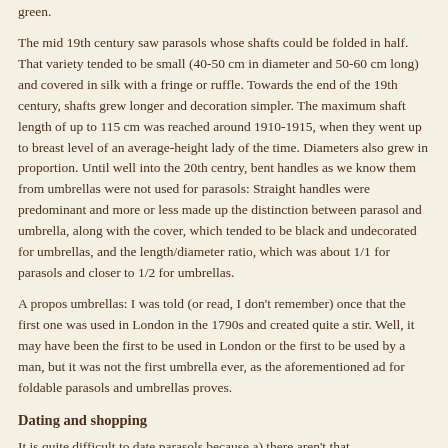green.
The mid 19th century saw parasols whose shafts could be folded in half. That variety tended to be small (40-50 cm in diameter and 50-60 cm long) and covered in silk with a fringe or ruffle. Towards the end of the 19th century, shafts grew longer and decoration simpler. The maximum shaft length of up to 115 cm was reached around 1910-1915, when they went up to breast level of an average-height lady of the time. Diameters also grew in proportion. Until well into the 20th centry, bent handles as we know them from umbrellas were not used for parasols: Straight handles were predominant and more or less made up the distinction between parasol and umbrella, along with the cover, which tended to be black and undecorated for umbrellas, and the length/diameter ratio, which was about 1/1 for parasols and closer to 1/2 for umbrellas.
A propos umbrellas: I was told (or read, I don't remember) once that the first one was used in London in the 1790s and created quite a stir. Well, it may have been the first to be used in London or the first to be used by a man, but it was not the first umbrella ever, as the aforementioned ad for foldable parasols and umbrellas proves.
Dating and shopping
It is quite difficult to date parasols because a) there aren't that